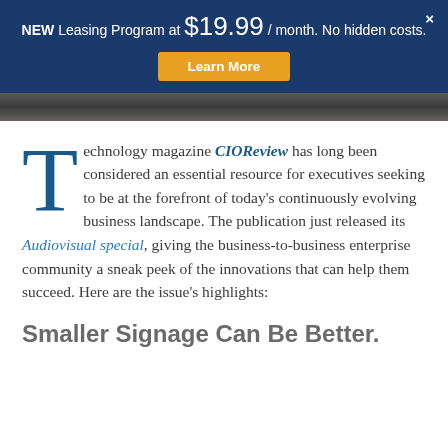NEW Leasing Program at $19.99 / month. No hidden costs. Learn More
Technology magazine CIOReview has long been considered an essential resource for executives seeking to be at the forefront of today's continuously evolving business landscape. The publication just released its Audiovisual special, giving the business-to-business enterprise community a sneak peek of the innovations that can help them succeed. Here are the issue's highlights:
Smaller Signage Can Be Better.